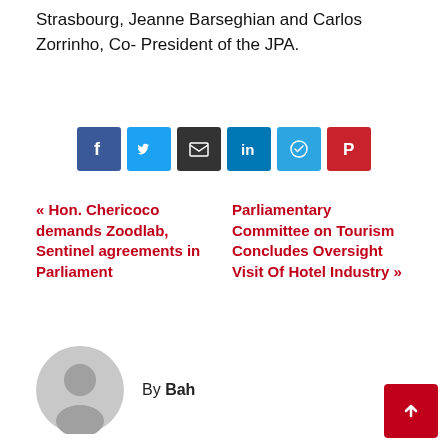Strasbourg, Jeanne Barseghian and Carlos Zorrinho, Co- President of the JPA.
[Figure (other): Social sharing buttons: Facebook, Twitter, Email, LinkedIn, Telegram, Pinterest]
« Hon. Chericoco demands Zoodlab, Sentinel agreements in Parliament
Parliamentary Committee on Tourism Concludes Oversight Visit Of Hotel Industry »
[Figure (photo): Gray placeholder avatar circle with silhouette figure]
By Bah